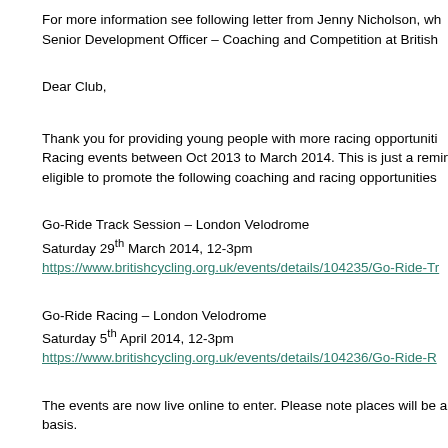For more information see following letter from Jenny Nicholson, wh… Senior Development Officer – Coaching and Competition at British…
Dear Club,
Thank you for providing young people with more racing opportuniti… Racing events between Oct 2013 to March 2014. This is just a remin… eligible to promote the following coaching and racing opportunities…
Go-Ride Track Session – London Velodrome
Saturday 29th March 2014, 12-3pm
https://www.britishcycling.org.uk/events/details/104235/Go-Ride-Tr…
Go-Ride Racing – London Velodrome
Saturday 5th April 2014, 12-3pm
https://www.britishcycling.org.uk/events/details/104236/Go-Ride-R…
The events are now live online to enter. Please note places will be al… basis.
Kind Regards,